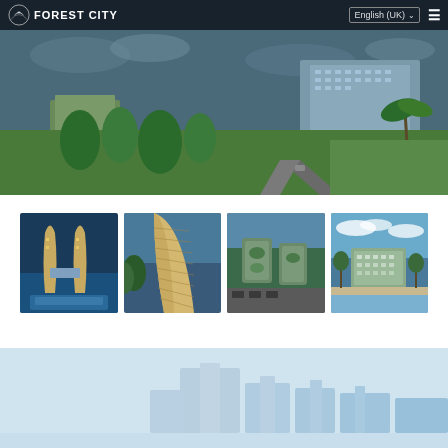[Figure (screenshot): Forest City website hero banner with navigation bar showing logo, English (UK) language selector, and hamburger menu. Background shows aerial photo of tropical development with palm trees, roads, and resort-style buildings.]
[Figure (photo): Grid of four thumbnail photos showing Forest City development: twin leaf-shaped towers with pool, close-up of curved building facade, aerial view of green-roofed towers, and beachside resort building.]
[Figure (photo): Bottom partial screenshot showing light blue background with faint skyline silhouette of city buildings.]